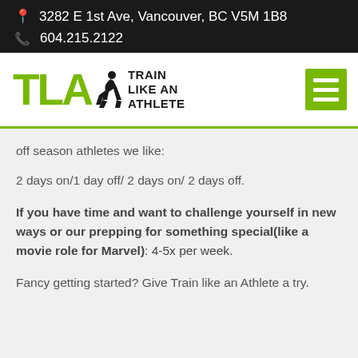📍 3282 E 1st Ave, Vancouver, BC V5M 1B8
📞 604.215.2122
[Figure (logo): Train Like An Athlete (TLA) logo with green letters TLA, running athlete silhouette, and black text TRAIN LIKE AN ATHLETE, plus green hamburger menu icon]
off season athletes we like:
2 days on/1 day off/ 2 days on/ 2 days off.
If you have time and want to challenge yourself in new ways or our prepping for something special(like a movie role for Marvel): 4-5x per week.
Fancy getting started? Give Train like an Athlete a try.